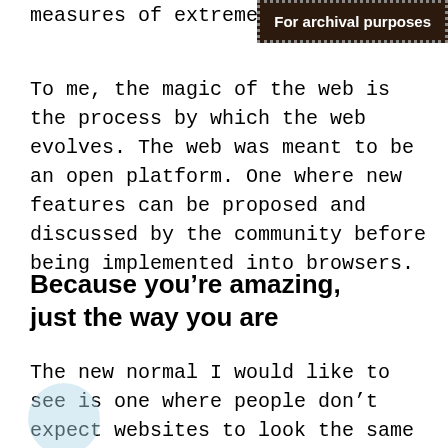measures of extreme-ha
For archival purposes
To me, the magic of the web is the process by which the web evolves. The web was meant to be an open platform. One where new features can be proposed and discussed by the community before being implemented into browsers.
Because you’re amazing, just the way you are
The new normal I would like to see is one where people don’t expect websites to look the same on different browsers and devices. Where we embrace the fluidity of content and work with it instead of